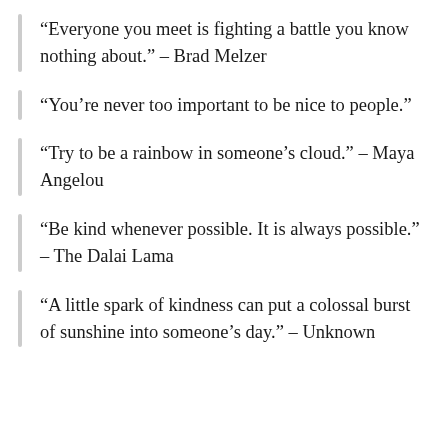“Everyone you meet is fighting a battle you know nothing about.” – Brad Melzer
“You’re never too important to be nice to people.”
“Try to be a rainbow in someone’s cloud.” – Maya Angelou
“Be kind whenever possible. It is always possible.” – The Dalai Lama
“A little spark of kindness can put a colossal burst of sunshine into someone’s day.” – Unknown